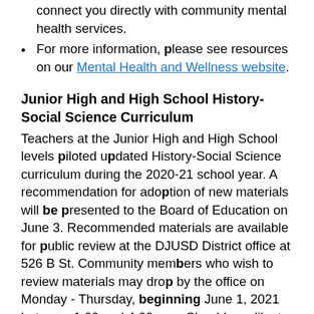connect you directly with community mental health services.
For more information, please see resources on our Mental Health and Wellness website.
Junior High and High School History-Social Science Curriculum
Teachers at the Junior High and High School levels piloted updated History-Social Science curriculum during the 2020-21 school year. A recommendation for adoption of new materials will be presented to the Board of Education on June 3. Recommended materials are available for public review at the DJUSD District office at 526 B St. Community members who wish to review materials may drop by the office on Monday - Thursday, beginning June 1, 2021 between 1:00 and 4:00 p.m. Should you like to schedule a time